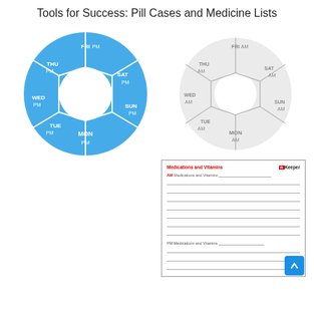Tools for Success: Pill Cases and Medicine Lists
[Figure (photo): Blue circular pill case with AM/PM compartments labeled MON, TUE, WED, THU, FRI, SAT, SUN]
[Figure (photo): White/clear circular pill case with AM/PM compartments labeled MON, TUE, WED, THU, FRI, SAT, SUN]
[Figure (other): RKeeper Medications and Vitamins form/list with AM and PM sections and blank lines]